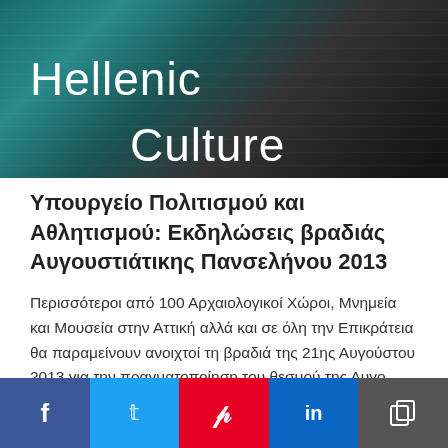[Figure (photo): Hellenic Culture banner image with dark teal and grey tones showing 'Hellenic Culture' text overlay]
Υπουργείο Πολιτισμού και Αθλητισμού: Εκδηλώσεις βραδιάς Αυγουστιάτικης Πανσελήνου 2013
Περισσότεροι από 100 Αρχαιολογικοί Χώροι, Μνημεία και Μουσεία στην Αττική αλλά και σε όλη την Επικράτεια θα παραμείνουν ανοιχτοί τη βραδιά της 21ης Αυγούστου 2013 για την πραγματοποίηση του θεσμού της Αυγο...
Posted On 19 Aug 2013, By GTP editing team